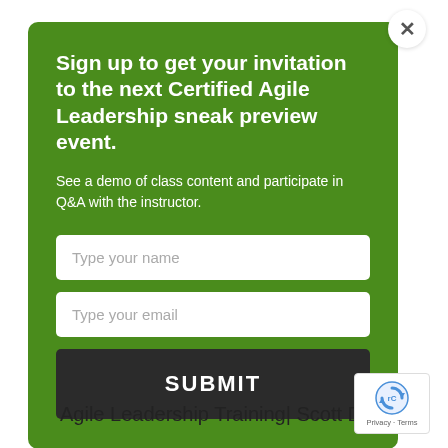Sign up to get your invitation to the next Certified Agile Leadership sneak preview event.
See a demo of class content and participate in Q&A with the instructor.
Type your name
Type your email
SUBMIT
Agile Leadership Training| Scott D..
[Figure (logo): reCAPTCHA logo with Privacy and Terms text]